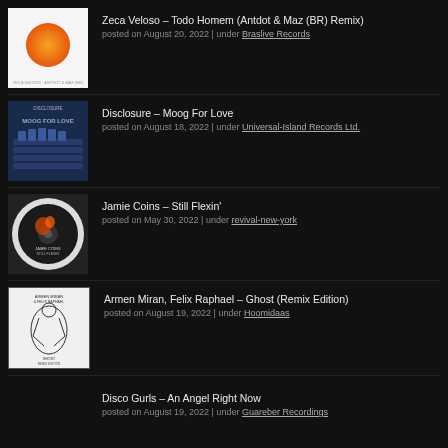[Figure (illustration): Album cover: white background with orange circle, small text at bottom]
Zeca Veloso – Todo Homem (Antdot & Maz (BR) Remix)
posted on August 20, 2022 | under Braslive Records
[Figure (photo): Album cover: Moog synthesizer keyboard, dark blue tones, text 'Moog For Love']
Disclosure – Moog For Love
posted on August 18, 2022 | under Universal-Island Records Ltd.
[Figure (illustration): Album cover: circular vinyl record style, dark image with fiery figure, Jamie Coins Still Flexin text]
Jamie Coins – Still Flexin'
posted on May 30, 2022 | under revival-new-york
[Figure (illustration): Album cover: white background with black line art illustration, Armen Miran & Felix Raphael text]
Armen Miran, Felix Raphael – Ghost (Remix Edition)
posted on August 19, 2022 | under Hoomidaas
Disco Gurls – An Angel Right Now
posted on August 19, 2022 | under Guareber Recordings